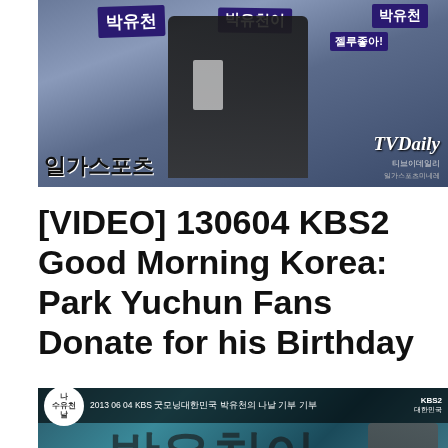[Figure (photo): Photo of Park Yuchun at a fan event with fans holding blue and purple Korean banners. Bottom left shows Korean text '일가스포츠', bottom right shows 'TV Daily' watermark. A man in black jacket is visible in the center.]
[VIDEO] 130604 KBS2 Good Morning Korea: Park Yuchun Fans Donate for his Birthday
[Figure (screenshot): YouTube video thumbnail showing a KBS broadcast from 2013-06-04 with Korean text and a teal/blue banner with Korean characters. Title bar shows '2013 06 04 KBS 굿모닝대한민국 박유천의 나날' with a YouTube play button overlay. Bottom bar shows Korean text '박유천, 팬클럽, 관계자']